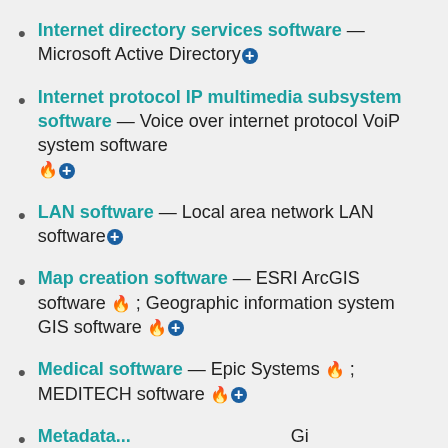Internet directory services software — Microsoft Active Directory⊕
Internet protocol IP multimedia subsystem software — Voice over internet protocol VoiP system software 🔥⊕
LAN software — Local area network LAN software⊕
Map creation software — ESRI ArcGIS software 🔥; Geographic information system GIS software 🔥⊕
Medical software — Epic Systems 🔥; MEDITECH software 🔥⊕
Metadata... software...